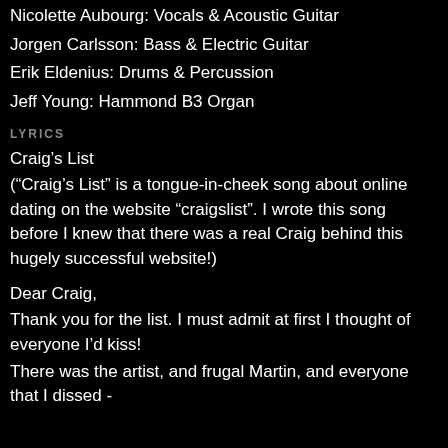Nicolette Aubourg: Vocals & Acoustic Guitar
Jorgen Carlsson: Bass & Electric Guitar
Erik Eldenius: Drums & Percussion
Jeff Young: Hammond B3 Organ
LYRICS
Craig’s List
(“Craig’s List” is a tongue-in-cheek song about online dating on the website “craigslist”. I wrote this song before I knew that there was a real Craig behind this hugely successful website!)
Dear Craig,
Thank you for the list. I must admit at first I thought of everyone I’d kiss!
There was the artist, and frugal Martin, and everyone that I dissed -